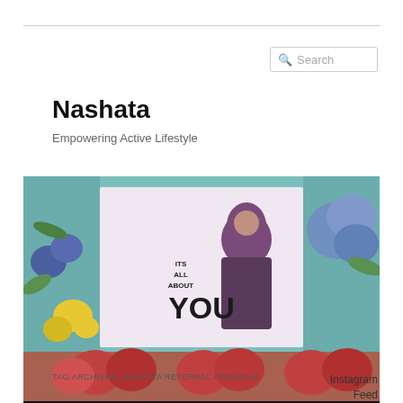[Figure (screenshot): Search box with magnifying glass icon and placeholder text 'Search']
Nashata
Empowering Active Lifestyle
[Figure (screenshot): Nashata website banner showing a woman in hijab with text 'ITS ALL ABOUT YOU' on a floral background, with navigation links: Nashata.com, Nashata GCC, Nashata ID, Blog, Subscribe to Newsletter]
TAG ARCHIVES: NASHATA REFERRAL PROGRAM
Instagram
Feed